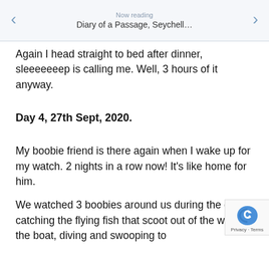Now reading
Diary of a Passage, Seychell…
Again I head straight to bed after dinner, sleeeeeeep is calling me. Well, 3 hours of it anyway.
Day 4, 27th Sept, 2020.
My boobie friend is there again when I wake up for my watch. 2 nights in a row now! It's like home for him.
We watched 3 boobies around us during the day, catching the flying fish that scoot out of the way of the boat, diving and swooping to…